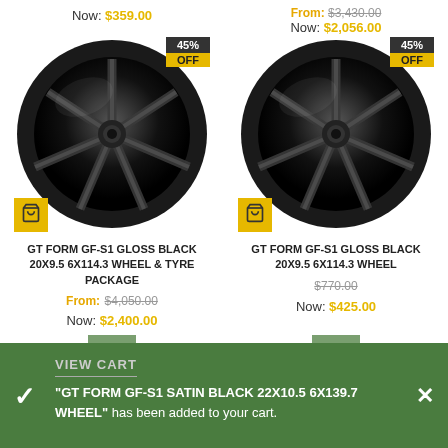Now: $359.00
From: $3,430.00 Now: $2,056.00
[Figure (photo): GT Form GF-S1 Gloss Black wheel with 45% OFF badge, left product]
[Figure (photo): GT Form GF-S1 Gloss Black wheel with 45% OFF badge, right product]
GT FORM GF-S1 GLOSS BLACK 20X9.5 6X114.3 WHEEL & TYRE PACKAGE
From: $4,050.00 Now: $2,400.00
GT FORM GF-S1 GLOSS BLACK 20X9.5 6X114.3 WHEEL
$770.00 Now: $425.00
VIEW CART
"GT FORM GF-S1 SATIN BLACK 22X10.5 6X139.7 WHEEL" has been added to your cart.